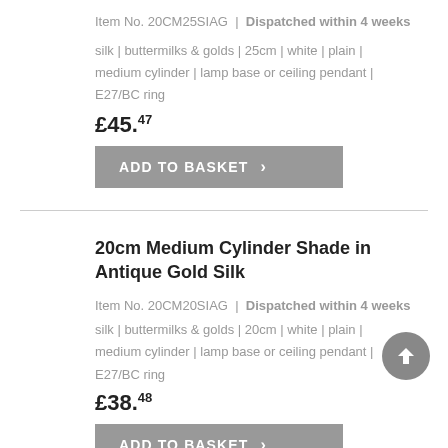Item No. 20CM25SIAG | Dispatched within 4 weeks
silk | buttermilks & golds | 25cm | white | plain | medium cylinder | lamp base or ceiling pendant | E27/BC ring
£45.47
ADD TO BASKET
20cm Medium Cylinder Shade in Antique Gold Silk
Item No. 20CM20SIAG | Dispatched within 4 weeks
silk | buttermilks & golds | 20cm | white | plain | medium cylinder | lamp base or ceiling pendant | E27/BC ring
£38.48
ADD TO BASKET